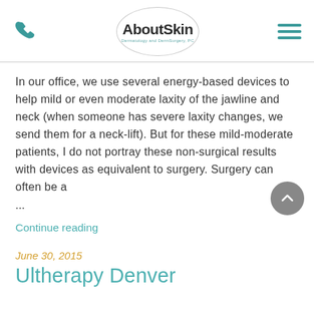AboutSkin Dermatology and DermSurgery, PC
In our office, we use several energy-based devices to help mild or even moderate laxity of the jawline and neck (when someone has severe laxity changes, we send them for a neck-lift). But for these mild-moderate patients, I do not portray these non-surgical results with devices as equivalent to surgery. Surgery can often be a ...
Continue reading
June 30, 2015
Ultherapy Denver